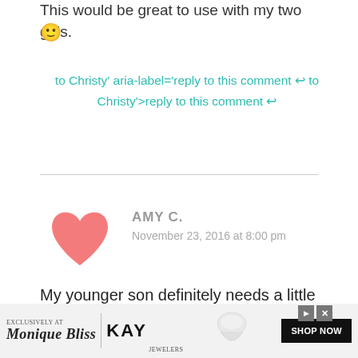This would be great to use with my two girls. 🙂
to Christy' aria-label='reply to this comment ↩ to Christy'>reply to this comment ↩
AMY C.
November 23, 2016 at 8:00 pm
[Figure (illustration): Pink heart avatar icon for commenter Amy C.]
My younger son definitely needs a little more encouraging with manners. He's somewhat backward and resistant to what I suggest. Maybe hearing this in book form from an outsi...
[Figure (photo): Advertisement banner for Kay Jewelers featuring Monique Lhuillier Bliss ring with SHOP NOW button]